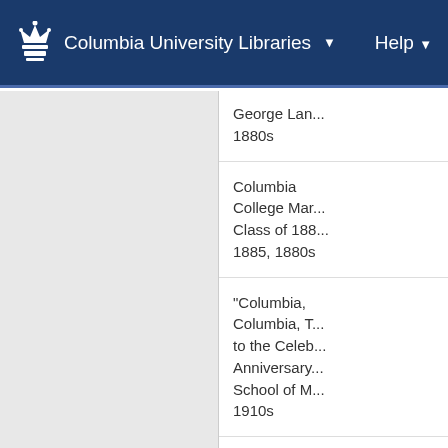Columbia University Libraries  ▾    Help ▾
George Lan... 1880s
Columbia College Mar... Class of 188... 1885, 1880s
"Columbia, Columbia, T... to the Celeb... Anniversary... School of M... 1910s
Columbia Marching So... Erskine, Cla... Ward, 1910s
The Columbia O...